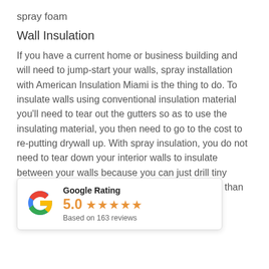spray foam
Wall Insulation
If you have a current home or business building and will need to jump-start your walls, spray installation with American Insulation Miami is the thing to do. To insulate walls using conventional insulation material you'll need to tear out the gutters so as to use the insulating material, you then need to go to the cost to re-putting drywall up. With spray insulation, you do not need to tear down your interior walls to insulate between your walls because you can just drill tiny holes through it to insulate [er holes are much] [air than having to] [s.]
[Figure (infographic): Google Rating widget showing 5.0 stars based on 163 reviews]
If you live in an older home and are